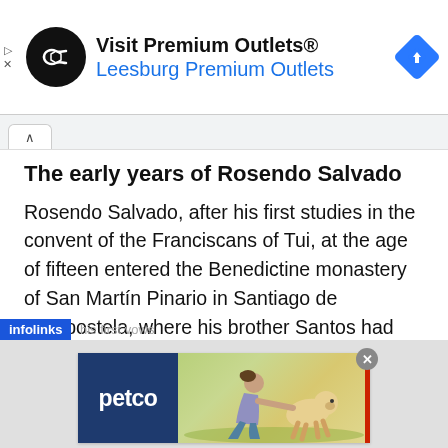[Figure (screenshot): Advertisement banner for Premium Outlets featuring a black circular logo with double arrow, text 'Visit Premium Outlets®' and 'Leesburg Premium Outlets' in blue, and a blue navigation diamond icon on the right]
The early years of Rosendo Salvado
Rosendo Salvado, after his first studies in the convent of the Franciscans of Tui, at the age of fifteen entered the Benedictine monastery of San Martín Pinario in Santiago de Compostela, where his brother Santos had already been a novice since 1825. After a year of novitiate, he took the habit and
[Figure (screenshot): Petco advertisement banner showing petco logo in dark blue on left and a woman crouching with a golden dog on a grassy background on the right with a red vertical accent line]